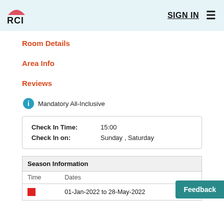RCI | SIGN IN
Room Details
Area Info
Reviews
Mandatory All-Inclusive
| Check In Time: | 15:00 |
| Check In on: | Sunday , Saturday |
| Season Information |
| --- |
| Time | Dates |
|  | 01-Jan-2022 to 28-May-2022 |